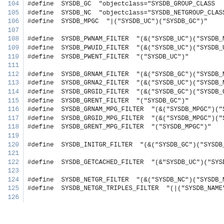104  #define SYSDB_GC "objectclass="SYSDB_GROUP_CLASS
105  #define SYSDB_NC "objectclass="SYSDB_NETGROUP_CLASS
106  #define SYSDB_MPGC "||("SYSDB_UC")("SYSDB_GC")"
107
108  #define SYSDB_PWNAM_FILTER "(&("SYSDB_UC")("SYSDB_M
109  #define SYSDB_PWUID_FILTER "(&("SYSDB_UC")("SYSDB_U
110  #define SYSDB_PWENT_FILTER "("SYSDB_UC")"
111
112  #define SYSDB_GRNAM_FILTER "(&("SYSDB_GC")("SYSDB_M
113  #define SYSDB_GRNA2_FILTER "(&("SYSDB_UC")("SYSDB_M
114  #define SYSDB_GRGID_FILTER "(&("SYSDB_GC")("SYSDB_G
115  #define SYSDB_GRENT_FILTER "("SYSDB_GC")"
116  #define SYSDB_GRNAM_MPG_FILTER "(&("SYSDB_MPGC")("S
117  #define SYSDB_GRGID_MPG_FILTER "(&("SYSDB_MPGC")("S
118  #define SYSDB_GRENT_MPG_FILTER "("SYSDB_MPGC")"
119
120  #define SYSDB_INITGR_FILTER "(&("SYSDB_GC")("SYSDB_
121
122  #define SYSDB_GETCACHED_FILTER "(&"SYSDB_UC")("SYSD
123
124  #define SYSDB_NETGR_FILTER "(&("SYSDB_NC")("SYSDB_M
125  #define SYSDB_NETGR_TRIPLES_FILTER "(|("SYSDB_NAME"
126